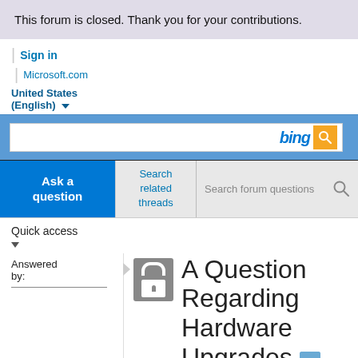This forum is closed. Thank you for your contributions.
Sign in
Microsoft.com
United States (English)
[Figure (screenshot): Bing search bar with blue background and orange search button]
Ask a question
Search related threads
Search forum questions
Quick access
Answered by:
A Question Regarding Hardware Upgrades
Archived Forums >
Windows Vista Validation Issues (Windows Vista)